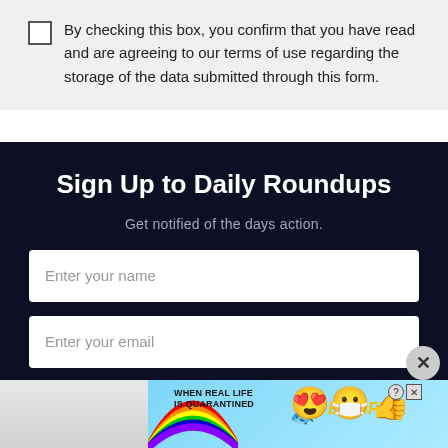By checking this box, you confirm that you have read and are agreeing to our terms of use regarding the storage of the data submitted through this form.
Sign Up to Daily Roundups
Get notified of the days action.
Enter your name
Enter your email
[Figure (screenshot): Advertisement banner for BitLife game showing rainbow graphic, text 'WHEN REAL LIFE IS QUARANTINED' and BitLife logo with emoji characters]